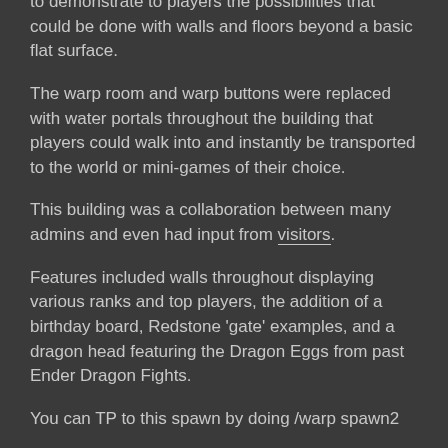to demonstrate to players the possibilities that could be done with walls and floors beyond a basic flat surface.
The warp room and warp buttons were replaced with water portals throughout the building that players could walk into and instantly be transported to the world or mini-games of their choice.
This building was a collaboration between many admins and even had input from visitors.
Features included walls throughout displaying various ranks and top players, the addition of a birthday board, Redstone 'gate' examples, and a dragon head featuring the Dragon Eggs from past Ender Dragon Fights.
You can TP to this spawn by doing /warp spawn2
Spawn 3
2015 - 2016
Still, in the Lobby world, this new spawn returned to the village feel of the original.